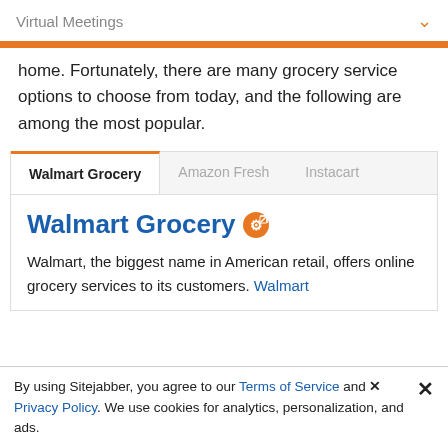Virtual Meetings
home. Fortunately, there are many grocery service options to choose from today, and the following are among the most popular.
Walmart Grocery | Amazon Fresh | Instacart
Walmart Grocery
Walmart, the biggest name in American retail, offers online grocery services to its customers. Walmart
By using Sitejabber, you agree to our Terms of Service and Privacy Policy. We use cookies for analytics, personalization, and ads.